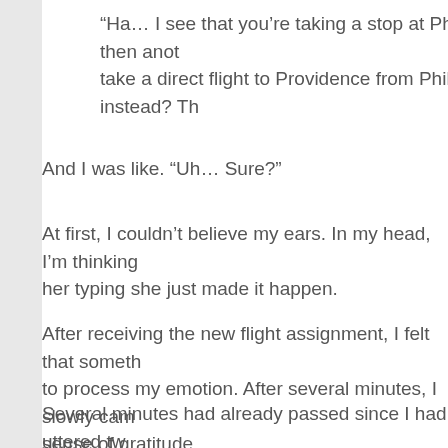“Ha… I see that you’re taking a stop at Philly, then anot take a direct flight to Providence from Philly instead? Th
And I was like. “Uh… Sure?”
At first, I couldn’t believe my ears. In my head, I’m thinking her typing she just made it happen.
After receiving the new flight assignment, I felt that someth to process my emotion. After several minutes, I slowly cam sense of gratitude.
Several minutes had already passed since I had uttered tw bring it up again. I tried to distract myself for a few minutes I stood up, walked up to her, and told her that I would really picture together. She seemed surprised, and probably thou agreed, and we smiled together at the camera before sna